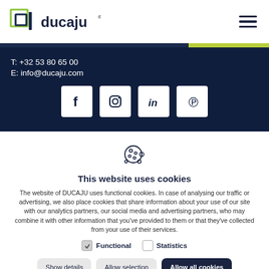[Figure (logo): Ducaju logo with green/navy square icon and wordmark 'ducaju']
[Figure (other): Hamburger menu icon (three horizontal lines)]
T: +32 53 80 65 00
E: info@ducaju.com
[Figure (other): Social media icons: Facebook, Instagram, LinkedIn, Pinterest in white square boxes]
[Figure (other): Cookie icon illustration]
This website uses cookies
The website of DUCAJU uses functional cookies. In case of analysing our traffic or advertising, we also place cookies that share information about your use of our site with our analytics partners, our social media and advertising partners, who may combine it with other information that you've provided to them or that they've collected from your use of their services.
Functional   Statistics
Show details   Allow selection   Allow all cookies